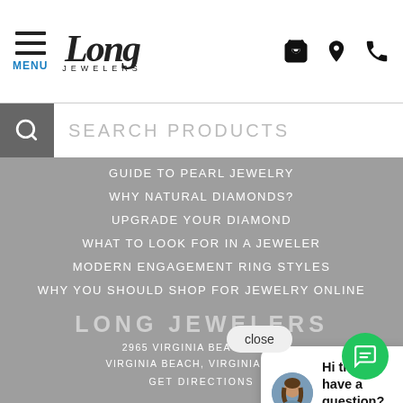[Figure (screenshot): Long Jewelers website screenshot showing navigation header with menu icon, logo, cart, location, and phone icons; search bar; navigation menu items list; chat pop-up with avatar; footer with address; and green chat FAB button]
MENU | Long JEWELERS
SEARCH PRODUCTS
GUIDE TO PEARL JEWELRY
WHY NATURAL DIAMONDS?
UPGRADE YOUR DIAMOND
WHAT TO LOOK FOR IN A JEWELER
MODERN ENGAGEMENT RING STYLES
WHY YOU SHOULD SHOP FOR JEWELRY ONLINE
TRY ON ENGAGEMENT RINGS BEFORE YOU BUY
close
Hi there, have a question? Text us here.
LONG JEWELERS
2965 VIRGINIA BEACH BLVD
VIRGINIA BEACH, VIRGINIA 23452
GET DIRECTIONS